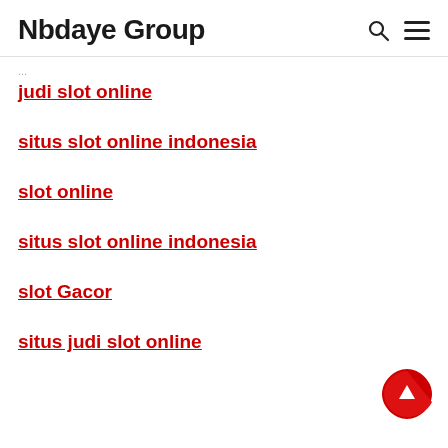Nbdaye Group
judi slot online
situs slot online indonesia
slot online
situs slot online indonesia
slot Gacor
situs judi slot online